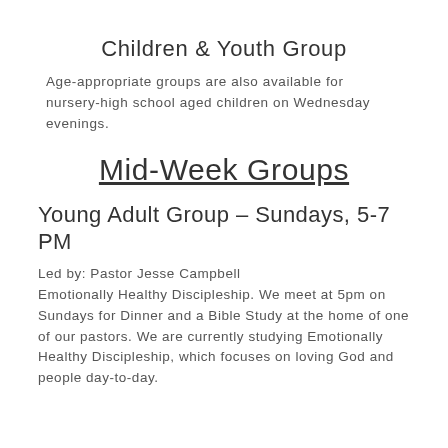Children & Youth Group
Age-appropriate groups are also available for nursery-high school aged children on Wednesday evenings.
Mid-Week Groups
Young Adult Group – Sundays, 5-7 PM
Led by: Pastor Jesse Campbell
Emotionally Healthy Discipleship. We meet at 5pm on Sundays for Dinner and a Bible Study at the home of one of our pastors. We are currently studying Emotionally Healthy Discipleship, which focuses on loving God and people day-to-day.